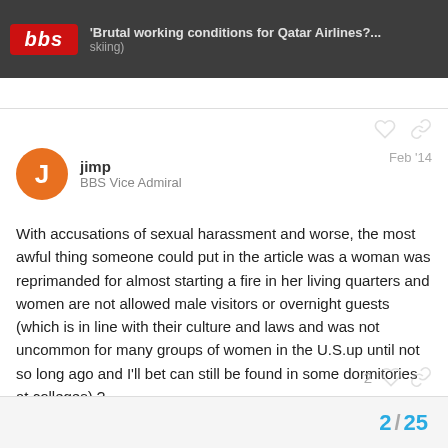bbs — 'Brutal working conditions for Qatar Airlines?... (skiing)'
jimp
BBS Vice Admiral
Feb '14
With accusations of sexual harassment and worse, the most awful thing someone could put in the article was a woman was reprimanded for almost starting a fire in her living quarters and women are not allowed male visitors or overnight guests (which is in line with their culture and laws and was not uncommon for many groups of women in the U.S.up until not so long ago and I'll bet can still be found in some dormitories at colleges).?
2 / 25